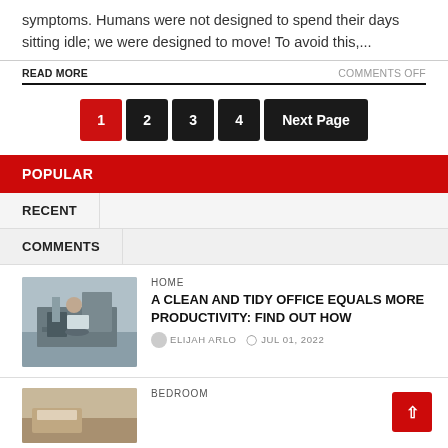symptoms. Humans were not designed to spend their days sitting idle; we were designed to move! To avoid this,...
READ MORE   COMMENTS OFF
1  2  3  4  Next Page
POPULAR
RECENT
COMMENTS
HOME
A CLEAN AND TIDY OFFICE EQUALS MORE PRODUCTIVITY: FIND OUT HOW
ELIJAH ARLO  JUL 01, 2022
[Figure (photo): Office scene with person at desk]
BEDROOM